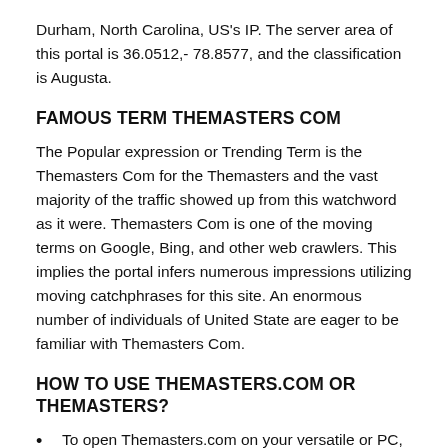Durham, North Carolina, US's IP. The server area of this portal is 36.0512,- 78.8577, and the classification is Augusta.
FAMOUS TERM THEMASTERS COM
The Popular expression or Trending Term is the Themasters Com for the Themasters and the vast majority of the traffic showed up from this watchword as it were. Themasters Com is one of the moving terms on Google, Bing, and other web crawlers. This implies the portal infers numerous impressions utilizing moving catchphrases for this site. An enormous number of individuals of United State are eager to be familiar with Themasters Com.
HOW TO USE THEMASTERS.COM OR THEMASTERS?
To open Themasters.com on your versatile or PC, you have to a decent web program like Google Chrome...